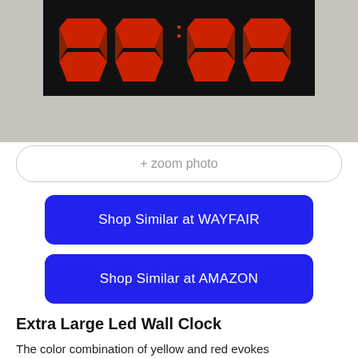[Figure (photo): LED wall clock with red/orange digit segments displayed on a black face, mounted on a gray wall. Only top portion of the clock/wall is visible.]
+ zoom photo
Shop Similar at WAYFAIR
Shop Similar at AMAZON
Extra Large Led Wall Clock
The color combination of yellow and red evokes